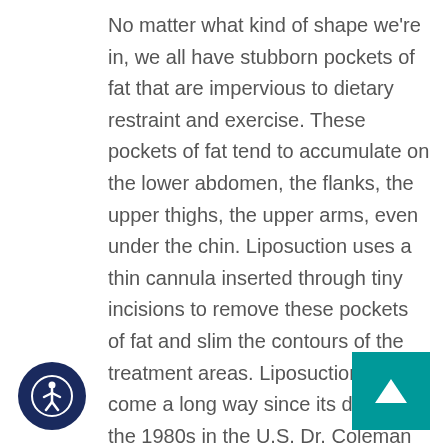No matter what kind of shape we're in, we all have stubborn pockets of fat that are impervious to dietary restraint and exercise. These pockets of fat tend to accumulate on the lower abdomen, the flanks, the upper thighs, the upper arms, even under the chin. Liposuction uses a thin cannula inserted through tiny incisions to remove these pockets of fat and slim the contours of the treatment areas. Liposuction has come a long way since its debut in the 1980s in the U.S. Dr. Coleman has been performing tumescent liposuction for three decades. This involves the injection of a saline solution with adrenaline and local anesthetic into the treatment area, dramatically